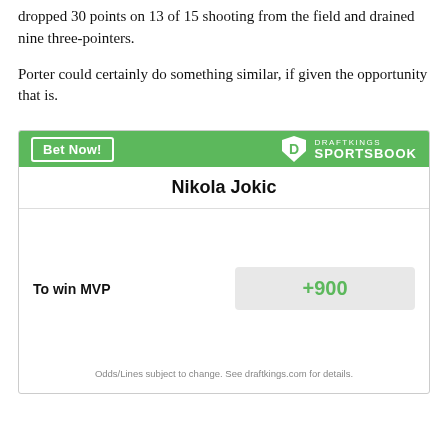dropped 30 points on 13 of 15 shooting from the field and drained nine three-pointers.
Porter could certainly do something similar, if given the opportunity that is.
[Figure (other): DraftKings Sportsbook betting widget showing Nikola Jokic To win MVP odds of +900]